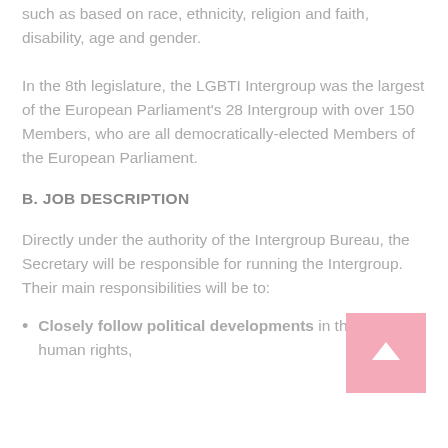such as based on race, ethnicity, religion and faith, disability, age and gender.
In the 8th legislature, the LGBTI Intergroup was the largest of the European Parliament's 28 Intergroup with over 150 Members, who are all democratically-elected Members of the European Parliament.
B. JOB DESCRIPTION
Directly under the authority of the Intergroup Bureau, the Secretary will be responsible for running the Intergroup. Their main responsibilities will be to:
Closely follow political developments in the field of human rights,